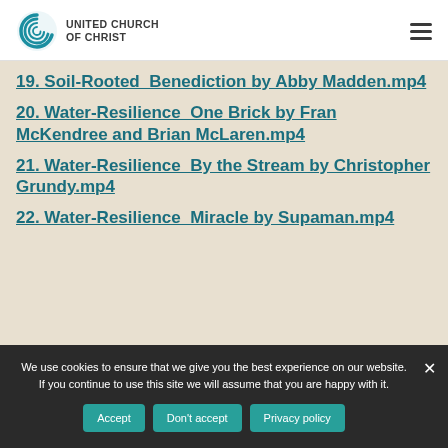United Church of Christ
19. Soil-Rooted_Benediction by Abby Madden.mp4
20. Water-Resilience_One Brick by Fran McKendree and Brian McLaren.mp4
21. Water-Resilience_By the Stream by Christopher Grundy.mp4
22. Water-Resilience_Miracle by Supaman.mp4
We use cookies to ensure that we give you the best experience on our website. If you continue to use this site we will assume that you are happy with it.